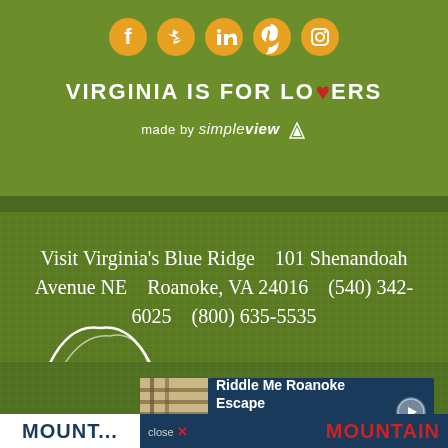[Figure (logo): Social media icons row: Facebook, Twitter, LinkedIn, Pinterest, Instagram — orange circular icons on green background]
[Figure (logo): Virginia is for Lovers logo — white bold uppercase text with red heart replacing the letter O in LOVERS]
made by simpleview
Visit Virginia's Blue Ridge    101 Shenandoah Avenue NE    Roanoke, VA 24016    (540) 342-6025    (800) 635-5535
[Figure (logo): Virginia's Blue Ridge logo — white arch lines over mountains with text VIRGINIA'S BLUE RIDGE in white uppercase]
[Figure (screenshot): Ad banner: dark blue background with text 'Riddle Me Roanoke Escape Always Unique, Always Fun!' and a circular arrow button, with a photo thumbnail on the left]
close
MOUNTAIN